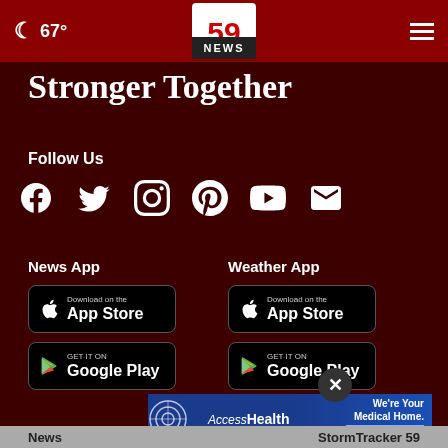🌙 67°  59 NEWS  ☰
Stronger Together
Follow Us
[Figure (other): Social media icons: Facebook, Twitter, Instagram, Pinterest, YouTube, Email]
News App
Weather App
[Figure (other): Download on the App Store button for News App]
[Figure (other): GET IT ON Google Play button for News App]
[Figure (other): Download on the App Store button for Weather App]
[Figure (other): GET IT ON Google Play button for Weather App]
[Figure (other): AccessHealth advertisement banner: We're Your Medical Home. More About Us]
News   StormTracker 59